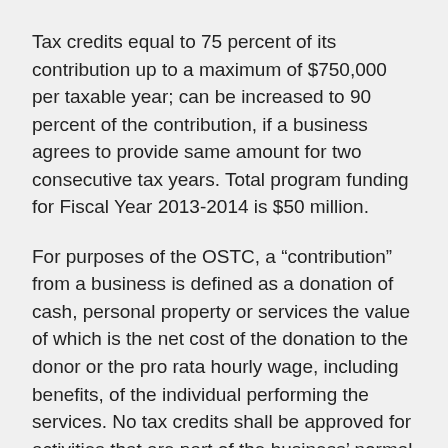Tax credits equal to 75 percent of its contribution up to a maximum of $750,000 per taxable year; can be increased to 90 percent of the contribution, if a business agrees to provide same amount for two consecutive tax years. Total program funding for Fiscal Year 2013-2014 is $50 million.
For purposes of the OSTC, a “contribution” from a business is defined as a donation of cash, personal property or services the value of which is the net cost of the donation to the donor or the pro rata hourly wage, including benefits, of the individual performing the services. No tax credits shall be approved for activities that are part of the business’ normal course of business.